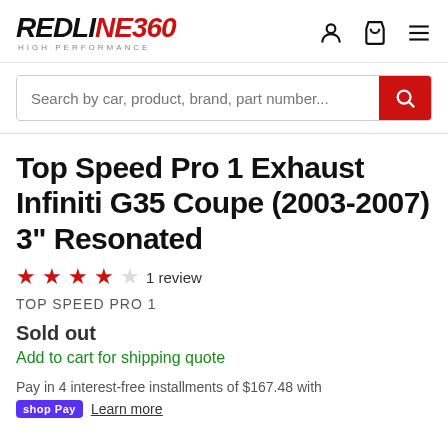[Figure (logo): Redline360 High Performance logo — black bold italic text with red 360]
Top Speed Pro 1 Exhaust Infiniti G35 Coupe (2003-2007) 3" Resonated
★★★★☆ 1 review
TOP SPEED PRO 1
Sold out
Add to cart for shipping quote
Pay in 4 interest-free installments of $167.48 with
shop Pay  Learn more